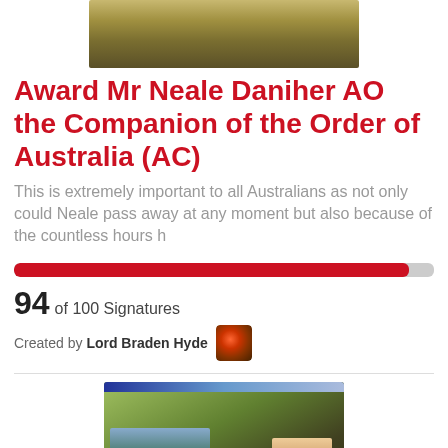[Figure (photo): Partial photo of a person outdoors with autumn foliage background, cropped at top]
Award Mr Neale Daniher AO the Companion of the Order of Australia (AC)
This is extremely important to all Australians as not only could Neale pass away at any moment but also because of the countless hours h
[Figure (infographic): Progress bar showing 94 of 100 signatures, filled approximately 94% in red/dark pink]
94 of 100 Signatures
Created by Lord Braden Hyde
[Figure (photo): News broadcast screenshot showing crowd scene and news anchor, with text FIGHTING at bottom]